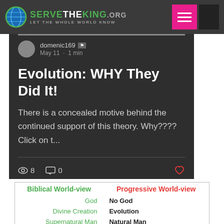ServeTheKing.org — Let The Whole World Know
[Figure (screenshot): Blog post card on dark background showing user domenic169, May 11, 1 min read, with title 'Evolution: WHY They Did It!' and excerpt 'There is a concealed motive behind the continued support of this theory. Why???? Click on t...' with 8 views, 0 comments, and a heart icon.]
| Biblical World-view | Progressive World-view |
| --- | --- |
| God | No God |
| Divine Creation | Evolution |
| Supernatural Man | Natural Man |
| Christ Centered Life | Self Centered Life |